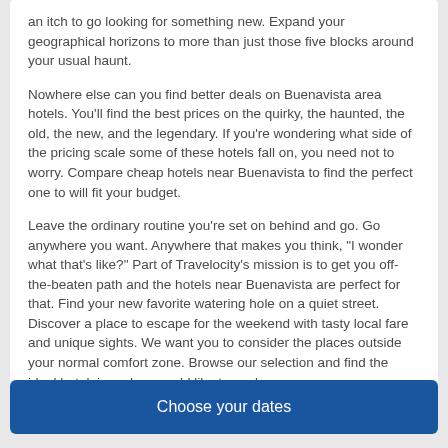an itch to go looking for something new. Expand your geographical horizons to more than just those five blocks around your usual haunt.
Nowhere else can you find better deals on Buenavista area hotels. You'll find the best prices on the quirky, the haunted, the old, the new, and the legendary. If you're wondering what side of the pricing scale some of these hotels fall on, you need not to worry. Compare cheap hotels near Buenavista to find the perfect one to will fit your budget.
Leave the ordinary routine you're set on behind and go. Go anywhere you want. Anywhere that makes you think, "I wonder what that's like?" Part of Travelocity's mission is to get you off-the-beaten path and the hotels near Buenavista are perfect for that. Find your new favorite watering hole on a quiet street. Discover a place to escape for the weekend with tasty local fare and unique sights. We want you to consider the places outside your normal comfort zone. Browse our selection and find the ideal hotel, in a place you'd like to explore.
Choose your dates